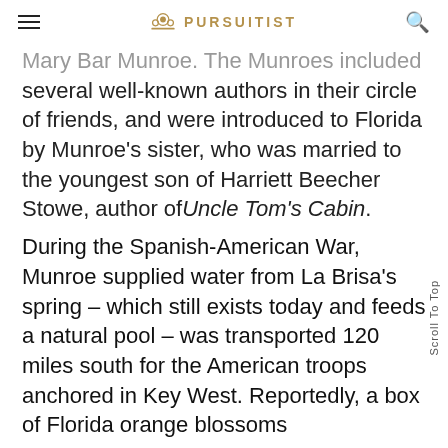PURSUITIST
Mary Bar Munroe. The Munroes included several well-known authors in their circle of friends, and were introduced to Florida by Munroe's sister, who was married to the youngest son of Harriett Beecher Stowe, author of Uncle Tom's Cabin.
During the Spanish-American War, Munroe supplied water from La Brisa's spring – which still exists today and feeds a natural pool – was transported 120 miles south for the American troops anchored in Key West. Reportedly, a box of Florida orange blossoms...